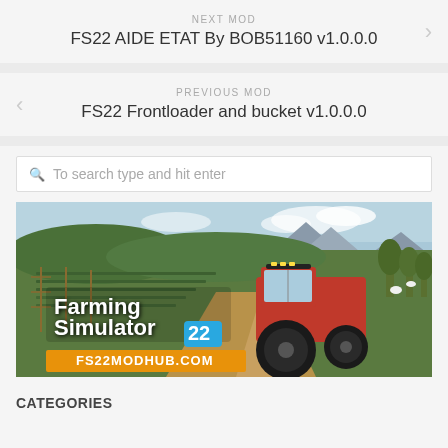NEXT MOD
FS22 AIDE ETAT By BOB51160 v1.0.0.0
PREVIOUS MOD
FS22 Frontloader and bucket v1.0.0.0
To search type and hit enter
[Figure (photo): Farming Simulator 22 banner image showing a red tractor in a farm landscape with vineyards and mountains, with text 'Farming Simulator 22' and 'FS22MODHUB.COM']
CATEGORIES